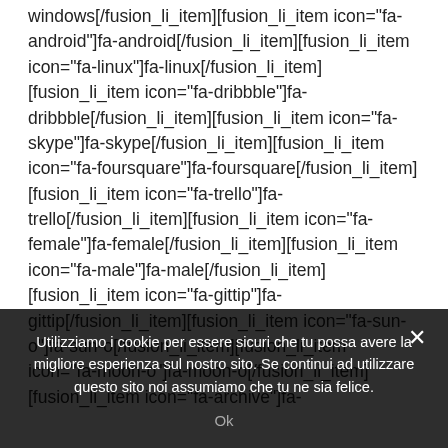windows[/fusion_li_item][fusion_li_item icon="fa-android"]fa-android[/fusion_li_item][fusion_li_item icon="fa-linux"]fa-linux[/fusion_li_item][fusion_li_item icon="fa-dribbble"]fa-dribbble[/fusion_li_item][fusion_li_item icon="fa-skype"]fa-skype[/fusion_li_item][fusion_li_item icon="fa-foursquare"]fa-foursquare[/fusion_li_item][fusion_li_item icon="fa-trello"]fa-trello[/fusion_li_item][fusion_li_item icon="fa-female"]fa-female[/fusion_li_item][fusion_li_item icon="fa-male"]fa-male[/fusion_li_item][fusion_li_item icon="fa-gittip"]fa-gittip[/fusion_li_item][fusion_li_item icon="fa-sun-o"]fa-sun-o[/fusion_li_item][fusion_li_item icon="fa-moon-o"]fa-moon-o[/fusion_li_item][fusion_li_item icon="fa-archive"]fa-
Utilizziamo i cookie per essere sicuri che tu possa avere la migliore esperienza sul nostro sito. Se continui ad utilizzare questo sito noi assumiamo che tu ne sia felice.
Ok